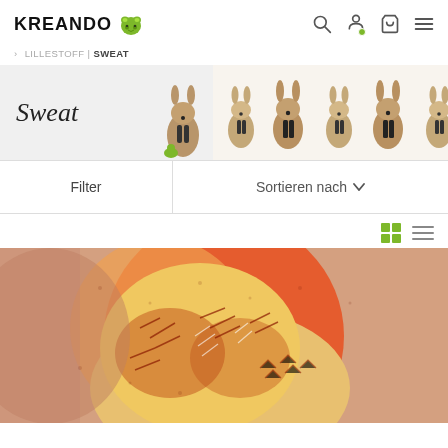KREANDO
› LILLESTOFF | SWEAT
[Figure (illustration): Banner image with cursive 'Sweat' text on gray background and rabbit character illustrations on patterned fabric background]
Filter
Sortieren nach
[Figure (illustration): Close-up illustration of a fox head in orange, red, and yellow tones with sketchy line art style on fabric]